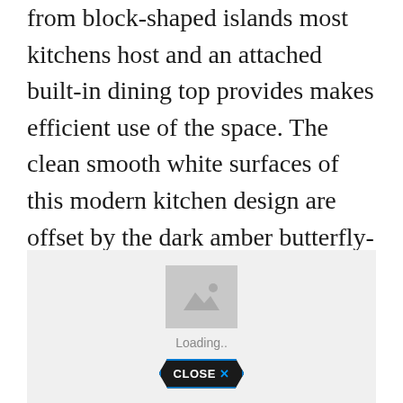from block-shaped islands most kitchens host and an attached built-in dining top provides makes efficient use of the space. The clean smooth white surfaces of this modern kitchen design are offset by the dark amber butterfly-style light fixtures.
[Figure (other): Image placeholder showing a loading state with a grey mountain/photo icon, 'Loading..' text, and a 'CLOSE X' button styled as a hexagonal/arrow shape with blue border]